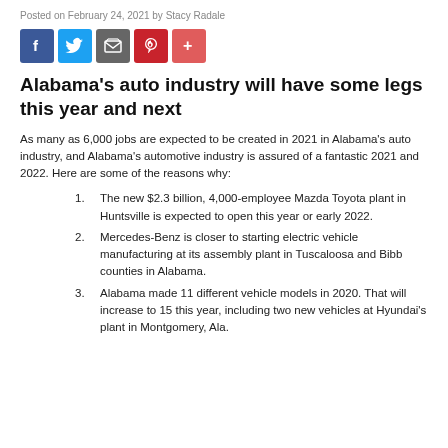Posted on February 24, 2021 by Stacy Radale
[Figure (other): Social media sharing icons: Facebook, Twitter, Email/Share, Pinterest, Plus/More]
Alabama's auto industry will have some legs this year and next
As many as 6,000 jobs are expected to be created in 2021 in Alabama's auto industry, and Alabama's automotive industry is assured of a fantastic 2021 and 2022. Here are some of the reasons why:
The new $2.3 billion, 4,000-employee Mazda Toyota plant in Huntsville is expected to open this year or early 2022.
Mercedes-Benz is closer to starting electric vehicle manufacturing at its assembly plant in Tuscaloosa and Bibb counties in Alabama.
Alabama made 11 different vehicle models in 2020. That will increase to 15 this year, including two new vehicles at Hyundai's plant in Montgomery, Ala.